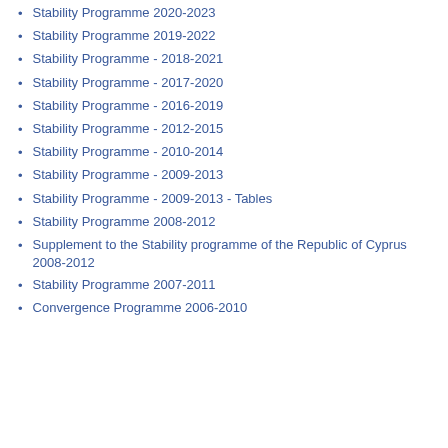Stability Programme 2020-2023
Stability Programme 2019-2022
Stability Programme - 2018-2021
Stability Programme - 2017-2020
Stability Programme - 2016-2019
Stability Programme - 2012-2015
Stability Programme - 2010-2014
Stability Programme - 2009-2013
Stability Programme - 2009-2013 - Tables
Stability Programme 2008-2012
Supplement to the Stability programme of the Republic of Cyprus 2008-2012
Stability Programme 2007-2011
Convergence Programme 2006-2010